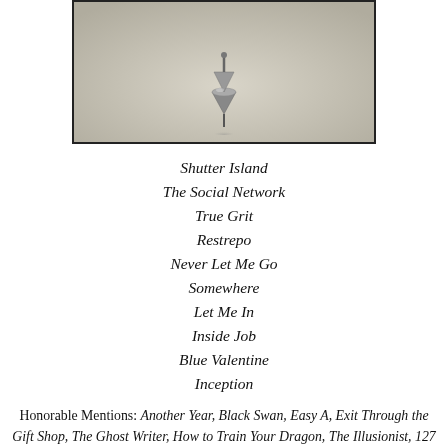[Figure (photo): A spinning top (metallic) balanced on a flat surface, photographed with shallow depth of field, black border around the image.]
Shutter Island
The Social Network
True Grit
Restrepo
Never Let Me Go
Somewhere
Let Me In
Inside Job
Blue Valentine
Inception
Honorable Mentions: Another Year, Black Swan, Easy A, Exit Through the Gift Shop, The Ghost Writer, How to Train Your Dragon, The Illusionist, 127 Hours, A Prophet, Salt, Scott Pilgrim vs. the World, Step Up 3D, Tangled, The Tillman Story, Toy Story 3